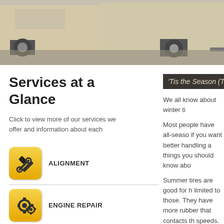[Figure (photo): Photo of cars parked in a parking lot, beige/silver vehicles visible from rear angle on concrete surface]
Services at a Glance
Click to view more of our services we offer and information about each
ALIGNMENT
ENGINE REPAIR
A/C SPECIALIST
'Tis the Season (Tires)
We all know about winter ti
Most people have all-seaso if you want better handling a things you should know abo
Summer tires are good for h limited to those. They have more rubber that contacts th speeds.  Plus it is engineere
Here's a bonus.  That desig that's touching the concrete
There are some things to be patterns.  That sometimes i